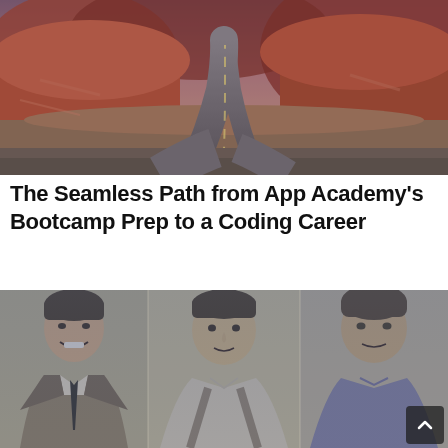[Figure (photo): Aerial view of a winding road through red rock desert canyon landscape with dramatic red and orange rock formations.]
The Seamless Path from App Academy's Bootcamp Prep to a Coding Career
[Figure (photo): Three young men standing together in a blue-tinted black and white photo — one in a suit and tie smiling, one in a tank top with a backpack, one in a t-shirt.]